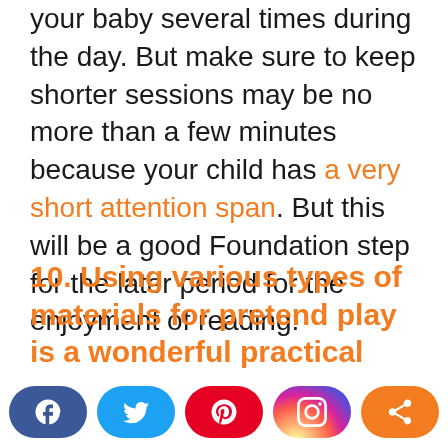your baby several times during the day. But make sure to keep shorter sessions may be no more than a few minutes because your child has a very short attention span. But this will be a good Foundation step for the later period for the enjoyment of reading.
10. Using various types of materials for pretend play is a wonderful practical experience with your children.
[Figure (infographic): Social media sharing buttons bar: Facebook (blue), Twitter (light blue), Pinterest (red), Instagram (gradient), Share (orange)]